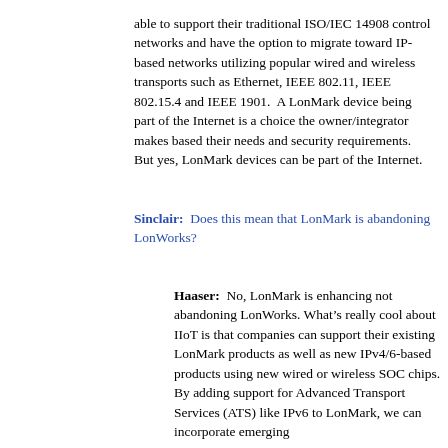able to support their traditional ISO/IEC 14908 control networks and have the option to migrate toward IP-based networks utilizing popular wired and wireless transports such as Ethernet, IEEE 802.11, IEEE 802.15.4 and IEEE 1901.  A LonMark device being part of the Internet is a choice the owner/integrator makes based their needs and security requirements.  But yes, LonMark devices can be part of the Internet.
Sinclair:  Does this mean that LonMark is abandoning LonWorks?
Haaser:  No, LonMark is enhancing not abandoning LonWorks. What’s really cool about IIoT is that companies can support their existing LonMark products as well as new IPv4/6-based products using new wired or wireless SOC chips. By adding support for Advanced Transport Services (ATS) like IPv6 to LonMark, we can incorporate emerging